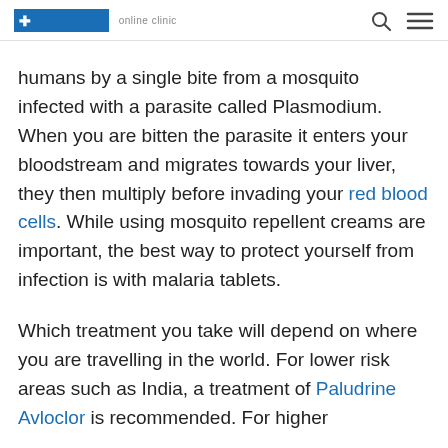LOXDOC online clinic
humans by a single bite from a mosquito infected with a parasite called Plasmodium. When you are bitten the parasite it enters your bloodstream and migrates towards your liver, they then multiply before invading your red blood cells. While using mosquito repellent creams are important, the best way to protect yourself from infection is with malaria tablets.

Which treatment you take will depend on where you are travelling in the world. For lower risk areas such as India, a treatment of Paludrine Avloclor is recommended. For higher